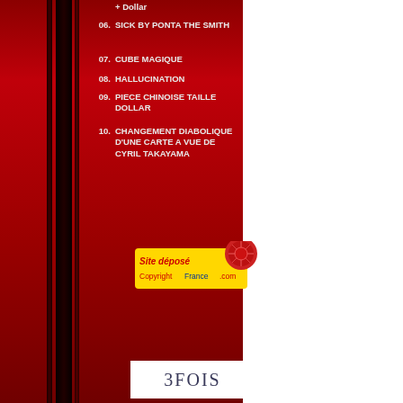+ Dollar
06. SICK BY PONTA THE SMITH
07. CUBE MAGIQUE
08. HALLUCINATION
09. PIECE CHINOISE TAILLE DOLLAR
10. CHANGEMENT DIABOLIQUE D'UNE CARTE A VUE DE CYRIL TAKAYAMA
[Figure (logo): Site deposé CopyrightFrance.com badge with red wax seal]
3FOIS